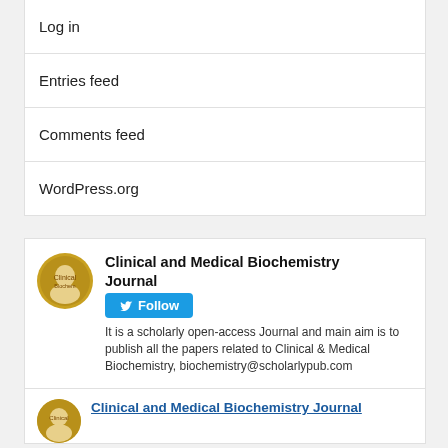Log in
Entries feed
Comments feed
WordPress.org
Clinical and Medical Biochemistry Journal — It is a scholarly open-access Journal and main aim is to publish all the papers related to Clinical & Medical Biochemistry, biochemistry@scholarlypub.com
Clinical and Medical Biochemistry Journal